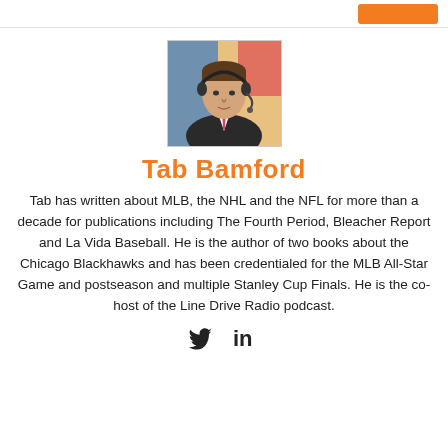[Figure (photo): Headshot photo of Tab Bamford wearing a suit and headset microphone]
Tab Bamford
Tab has written about MLB, the NHL and the NFL for more than a decade for publications including The Fourth Period, Bleacher Report and La Vida Baseball. He is the author of two books about the Chicago Blackhawks and has been credentialed for the MLB All-Star Game and postseason and multiple Stanley Cup Finals. He is the co-host of the Line Drive Radio podcast.
[Figure (logo): Twitter and LinkedIn social media icons]